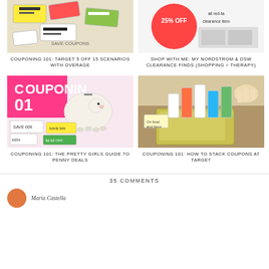[Figure (photo): Coupons scattered - colorful save coupons image]
COUPONING 101: TARGET 5 OFF 15 SCENARIOS WITH OVERAGE
[Figure (photo): Nordstrom and DSW clearance items with red tag and 25% off sign]
SHOP WITH ME: MY NORDSTROM & DSW CLEARANCE FINDS (SHOPPING = THERAPY)
[Figure (photo): Piggy bank on top of couponing magazine with save coupons]
COUPONING 101: THE PRETTY GIRLS GUIDE TO PENNY DEALS
[Figure (photo): Coupon binder with organized coupons being sorted]
COUPONING 101: HOW TO STACK COUPONS AT TARGET
35 COMMENTS
Maria Castella